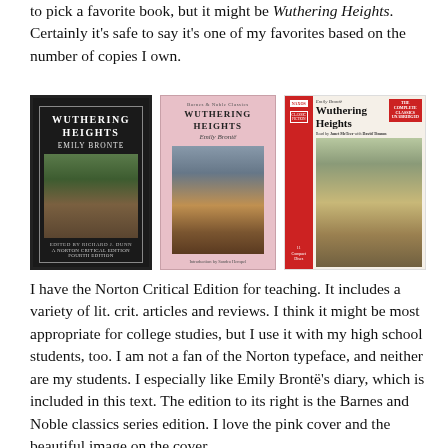to pick a favorite book, but it might be Wuthering Heights. Certainly it's safe to say it's one of my favorites based on the number of copies I own.
[Figure (photo): Three book covers of Wuthering Heights by Emily Bronte: a Norton Critical Edition (black cover), a Barnes & Noble Classics edition (pink cover), and a Naxos audiobook edition.]
I have the Norton Critical Edition for teaching. It includes a variety of lit. crit. articles and reviews. I think it might be most appropriate for college studies, but I use it with my high school students, too. I am not a fan of the Norton typeface, and neither are my students. I especially like Emily Brontë's diary, which is included in this text. The edition to its right is the Barnes and Noble classics series edition. I love the pink cover and the beautiful image on the cover